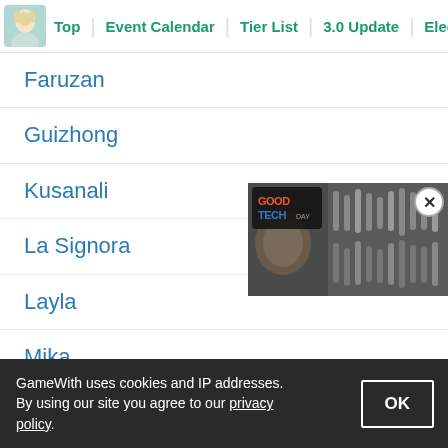Top | Event Calendar | Tier List | 3.0 Update | Electroc
Faruzan
Guizhong
Kusanali
La Signora
Layla
Mika
Scaramouche
Asmoday
[Figure (screenshot): Video player thumbnail showing audio mixing board with GoodTech or similar logo overlay]
GameWith uses cookies and IP addresses. By using our site you agree to our privacy policy.